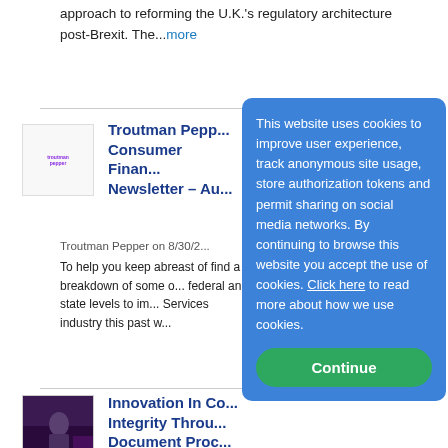approach to reforming the U.K.'s regulatory architecture post-Brexit. The...more
[Figure (logo): Troutman Pepper logo thumbnail]
Troutman Pepper Consumer Finance Newsletter – Au...
Troutman Pepper on 8/30/2...
To help you keep abreast of find a breakdown of some o... federal and state levels to im... Services industry this past w...
[Figure (photo): Photo thumbnail for Innovation article showing a person at an event with purple lighting]
Innovation In Co... Integrity Throu... Document Proc... Robinson
Thomas Fox - Compliance Evangelist on 8/30/2022
Will Robinson is a former investment banker who now
This website uses cookies to improve user experience, track anonymous site usage, store authorization tokens and permit sharing on social media networks. By continuing to browse this website you accept the use of cookies. Click here to read more about how we use cookies.
Continue